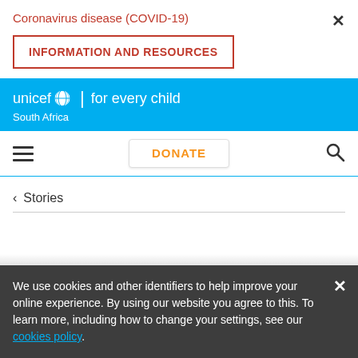Coronavirus disease (COVID-19)
[Figure (screenshot): Close X button in top right corner]
INFORMATION AND RESOURCES
[Figure (logo): UNICEF logo with globe icon — unicef for every child, South Africa]
[Figure (screenshot): Navigation bar with hamburger menu, DONATE button, and search icon]
< Stories
We use cookies and other identifiers to help improve your online experience. By using our website you agree to this. To learn more, including how to change your settings, see our cookies policy.